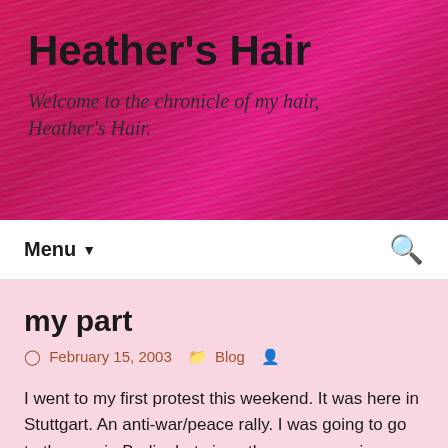Heather's Hair
Welcome to the chronicle of my hair, Heather's Hair.
Menu
my part
February 15, 2003   Blog
I went to my first protest this weekend. It was here in Stuttgart. An anti-war/peace rally. I was going to go to the one in Berlin, but since there was one in Stuttgart, and I am still paying off Christmas, I figured I should save myself the fare. Honestly, I was a little disappointed in the event. It probably would have been more meaningful had I spoke the language, but I just didn't get a strong feeling from the